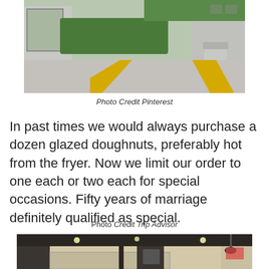[Figure (photo): Outdoor photo showing a building exterior with green hedges, a concrete sidewalk with yellow curb markings, and a trash can]
Photo Credit Pinterest
In past times we would always purchase a dozen glazed doughnuts, preferably hot from the fryer. Now we limit our order to one each or two each for special occasions. Fifty years of marriage definitely qualified as special.
Photo Credit Trip Advisor
[Figure (photo): Interior photo of a commercial kitchen or food service area with stainless steel equipment, display cases, and overhead lighting]